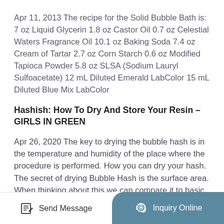Apr 11, 2013 The recipe for the Solid Bubble Bath is: 7 oz Liquid Glycerin 1.8 oz Castor Oil 0.7 oz Celestial Waters Fragrance Oil 10.1 oz Baking Soda 7.4 oz Cream of Tartar 2.7 oz Corn Starch 0.6 oz Modified Tapioca Powder 5.8 oz SLSA (Sodium Lauryl Sulfoacetate) 12 mL Diluted Emerald LabColor 15 mL Diluted Blue Mix LabColor
Hashish: How To Dry And Store Your Resin – GIRLS IN GREEN
Apr 26, 2020 The key to drying the bubble hash is in the temperature and humidity of the place where the procedure is performed. How you can dry your hash. The secret of drying Bubble Hash is the surface area. When thinking about this we can compare it to basic science class, comparing
Send Message   Inquiry Online